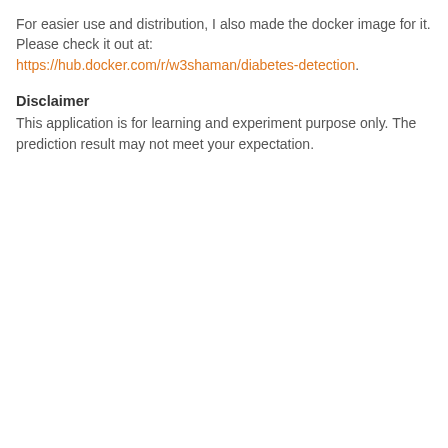For easier use and distribution, I also made the docker image for it. Please check it out at: https://hub.docker.com/r/w3shaman/diabetes-detection.
Disclaimer
This application is for learning and experiment purpose only. The prediction result may not meet your expectation.